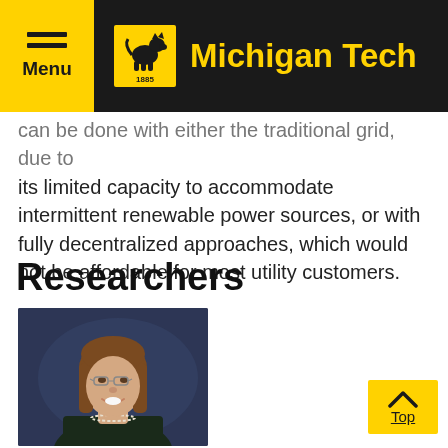Menu | Michigan Tech
... can be done with either the traditional grid, due to its limited capacity to accommodate intermittent renewable power sources, or with fully decentralized approaches, which would not be affordable for most utility customers.
Researchers
[Figure (photo): Professional headshot of a woman with shoulder-length brown hair, glasses, wearing a dark jacket and pearl necklace, smiling, against a dark blue background.]